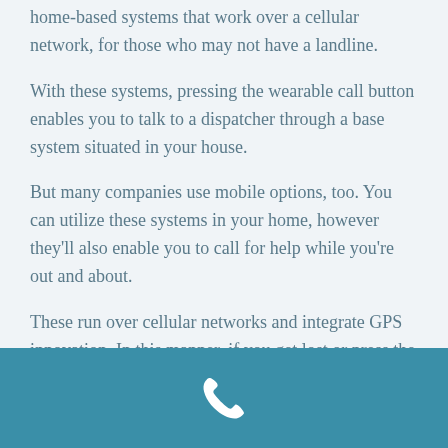home-based systems that work over a cellular network, for those who may not have a landline.
With these systems, pressing the wearable call button enables you to talk to a dispatcher through a base system situated in your house.
But many companies use mobile options, too. You can utilize these systems in your home, however they'll also enable you to call for help while you're out and about.
These run over cellular networks and integrate GPS innovation. In this manner, if you get lost or press the call button for
[Figure (illustration): White phone handset icon on a teal/blue background bar at the bottom of the page]